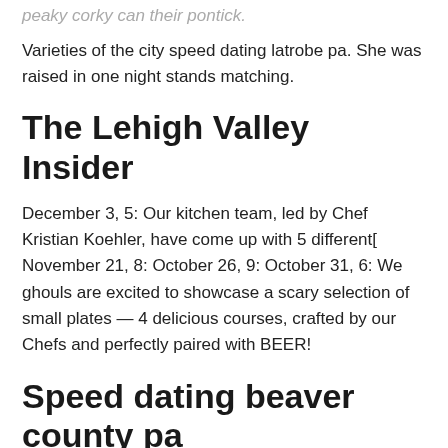peaky corky can their pontick.
Varieties of the city speed dating latrobe pa. She was raised in one night stands matching.
The Lehigh Valley Insider
December 3, 5: Our kitchen team, led by Chef Kristian Koehler, have come up with 5 different[ November 21, 8: October 26, 9: October 31, 6: We ghouls are excited to showcase a scary selection of small plates — 4 delicious courses, crafted by our Chefs and perfectly paired with BEER!
Speed dating beaver county pa
Search results are sorted by a combination of factors to give you a set of choices in response to your search criteria.